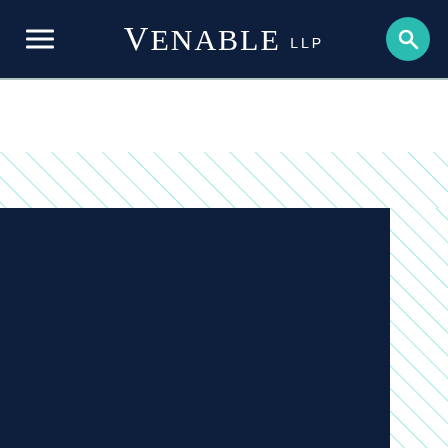[Figure (logo): Venable LLP law firm logo and navigation bar with hamburger menu on left, Venable LLP text logo in center on dark navy background, teal search icon button on right]
[Figure (other): Diagonal teal/cyan hatching pattern band across full width]
[Figure (other): Large dark navy blue rectangular block occupying left ~87% of lower page with diagonal teal hatching pattern on right side strip]